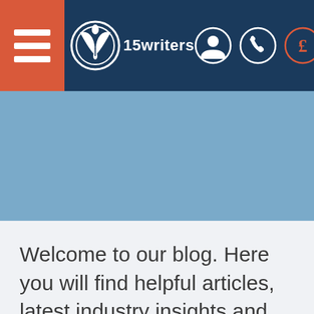[Figure (logo): 15writers website header with hamburger menu (red/orange background with three white horizontal lines), pen nib logo icon in a circle, text '15writers', and three circular icons on the right: person/account icon, phone icon, and pound sterling currency icon]
[Figure (other): Solid light blue/steel blue hero/banner area below the navigation bar]
Welcome to our blog. Here you will find helpful articles, latest industry insights and various writing tips and tricks.